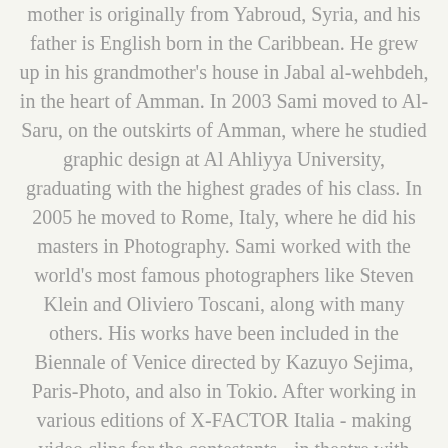mother is originally from Yabroud, Syria, and his father is English born in the Caribbean. He grew up in his grandmother's house in Jabal al-wehbdeh, in the heart of Amman. In 2003 Sami moved to Al-Saru, on the outskirts of Amman, where he studied graphic design at Al Ahliyya University, graduating with the highest grades of his class. In 2005 he moved to Rome, Italy, where he did his masters in Photography. Sami worked with the world's most famous photographers like Steven Klein and Oliviero Toscani, along with many others. His works have been included in the Biennale of Venice directed by Kazuyo Sejima, Paris-Photo, and also in Tokio. After working in various editions of X-FACTOR Italia - making video clips for the contestants - in theatre with Fendi, and in the high fashion industry, Sami felt there was something missing, and so he decided to go to Gaza, Palestine, because it is an example of resistance and humanity, and to try and contrast the image constructed by the Western media that serves only the powerful. Today Sami is co-funder and part of an on growing conceptual